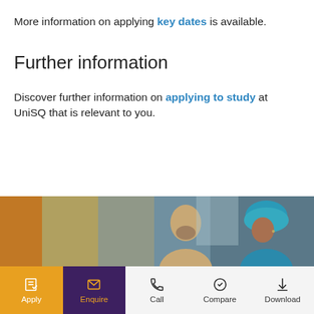More information on applying key dates is available.
Further information
Discover further information on applying to study at UniSQ that is relevant to you.
[Figure (photo): Photo of two people, one wearing a blue turban, in a university setting]
[Figure (infographic): Navigation bar with Apply, Enquire, Call, Compare, Download buttons]